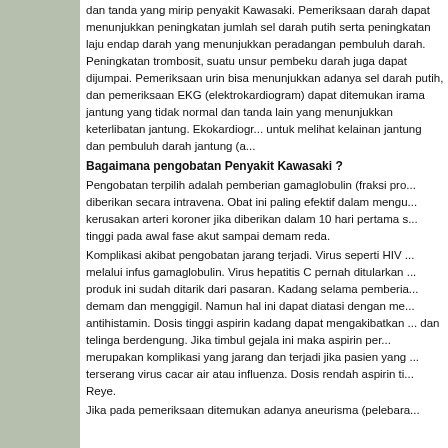dan tanda yang mirip penyakit Kawasaki. Pemeriksaan darah dapat menunjukkan peningkatan jumlah sel darah putih serta peningkatan laju endap darah yang menunjukkan peradangan pembuluh darah. Peningkatan trombosit, suatu unsur pembeku darah juga dapat dijumpai. Pemeriksaan urin bisa menunjukkan adanya sel darah putih, dan pemeriksaan EKG (elektrokardiogram) dapat ditemukan irama jantung yang tidak normal dan tanda lain yang menunjukkan keterlibatan jantung. Ekokardiogram dapat dilakukan untuk melihat kelainan jantung dan pembuluh darah jantung (arteri koroner).
Bagaimana pengobatan Penyakit Kawasaki ?
Pengobatan terpilih adalah pemberian gamaglobulin (fraksi protein darah) yang diberikan secara intravena. Obat ini paling efektif dalam mengurangi risiko terjadinya kerusakan arteri koroner jika diberikan dalam 10 hari pertama sakit. Aspirin dosis tinggi pada awal fase akut sampai demam reda.
Komplikasi akibat pengobatan jarang terjadi. Virus seperti HIV tidak dapat ditularkan melalui infus gamaglobulin. Virus hepatitis C pernah ditularkan melalui gamaglobulin, namun produk ini sudah ditarik dari pasaran. Kadang selama pemberian gamaglobulin terjadi demam dan menggigil. Namun hal ini dapat diatasi dengan memperlambat infus dan antihistamin. Dosis tinggi aspirin kadang dapat mengakibatkan gangguan pendengaran dan telinga berdengung. Jika timbul gejala ini maka aspirin perlu dikurangi. Sindrom Reye merupakan komplikasi yang jarang dan terjadi jika pasien yang minum aspirin terserang virus cacar air atau influenza. Dosis rendah aspirin tidak menyebabkan sindrom Reye.
Jika pada pemeriksaan ditemukan adanya aneurisma (pelebara...